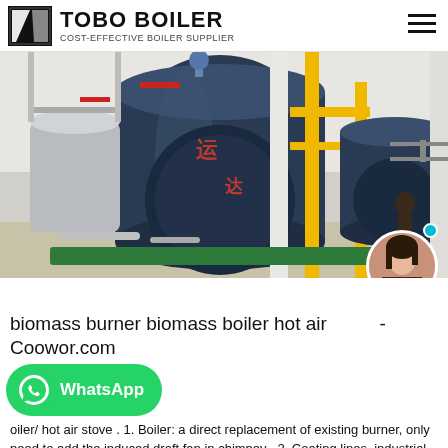TOBO BOILER COST-EFFECTIVE BOILER SUPPLIER
[Figure (photo): Industrial boiler room with large dark blue cylindrical boilers, yellow piping, and metal walkways.]
biomass burner biomass boiler hot air - Coowor.com
[Figure (photo): WhatsApp contact button with green background]
boiler/ hot air stove . 1. Boiler: a direct replacement of existing burner, only need to add the induced draft fan in chimney . 2. Coating lines, industrial baking: a direct replacement of existing burner or combustion systems, only need